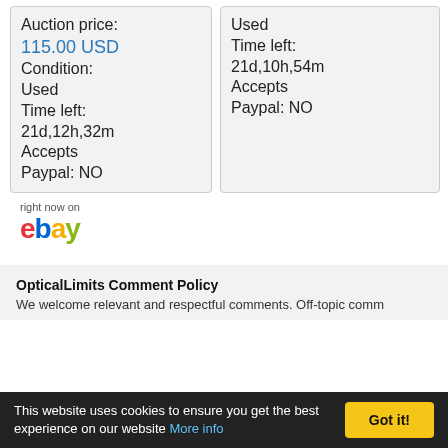Auction price: 115.00 USD Condition: Used Time left: 21d,12h,32m Accepts Paypal: NO
Used Time left: 21d,10h,54m Accepts Paypal: NO
[Figure (logo): eBay logo with 'right now on' text above]
OpticalLimits Comment Policy
We welcome relevant and respectful comments. Off-topic comm
This website uses cookies to ensure you get the best experience on our website More info Got it!